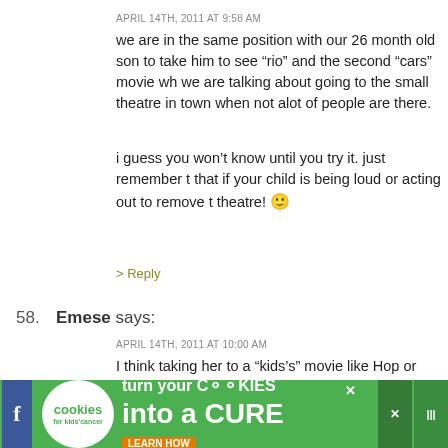APRIL 14TH, 2011 AT 9:58 AM
we are in the same position with our 26 month old son to take him to see “rio” and the second “cars” movie wh we are talking about going to the small theatre in town when not alot of people are there.
i guess you won’t know until you try it. just remember t that if your child is being loud or acting out to remove t theatre! 🙂
> Reply
58. Emese says:
APRIL 14TH, 2011 AT 10:00 AM
I think taking her to a “kids’s” movie like Hop or Smurfs Most people don’t expect it to be dead silent in a kid’s m someone else recommended too… take her in the midd once the movie has been out for a few days, bring lots o and sit near the isle so you can split if you need to haha Good luck and just have fun!! 🙂
[Figure (infographic): Green advertisement banner: cookies for kids cancer - turn your cookies into a CURE LEARN HOW]